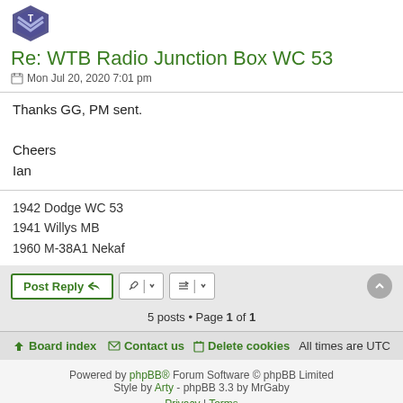[Figure (logo): Military badge/shield logo with chevron and T emblem in blue/purple tones]
Re: WTB Radio Junction Box WC 53
Mon Jul 20, 2020 7:01 pm
Thanks GG, PM sent.

Cheers
Ian
1942 Dodge WC 53
1941 Willys MB
1960 M-38A1 Nekaf
5 posts • Page 1 of 1
Board index   Contact us   Delete cookies   All times are UTC
Powered by phpBB® Forum Software © phpBB Limited
Style by Arty - phpBB 3.3 by MrGaby
Privacy | Terms